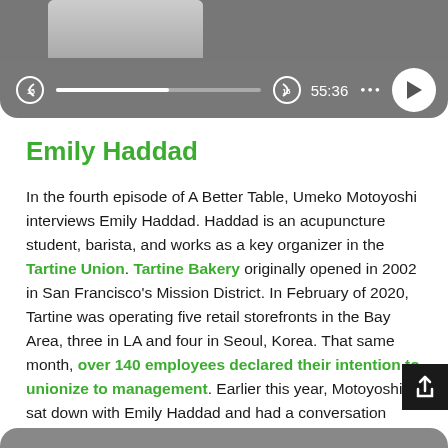[Figure (screenshot): Media player UI showing a podcast episode with progress bar, skip buttons, timestamp 55:36, and play button on a gray background]
Emily Haddad
In the fourth episode of A Better Table, Umeko Motoyoshi interviews Emily Haddad. Haddad is an acupuncture student, barista, and works as a key organizer in the Tartine Union. Tartine Bakery originally opened in 2002 in San Francisco's Mission District. In February of 2020, Tartine was operating five retail storefronts in the Bay Area, three in LA and four in Seoul, Korea. That same month, over 140 employees declared their intention to unionize to management. Earlier this year, Motoyoshi sat down with Emily Haddad and had a conversation about the efforts to unionize.